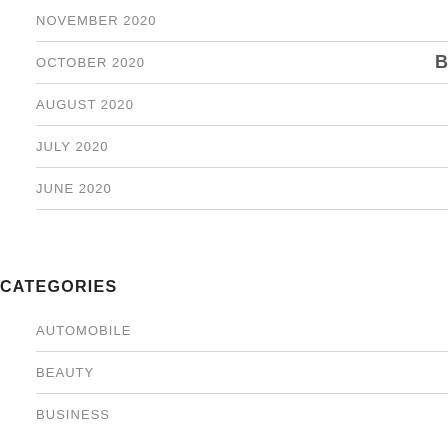NOVEMBER 2020
OCTOBER 2020
AUGUST 2020
JULY 2020
JUNE 2020
CATEGORIES
AUTOMOBILE
BEAUTY
BUSINESS